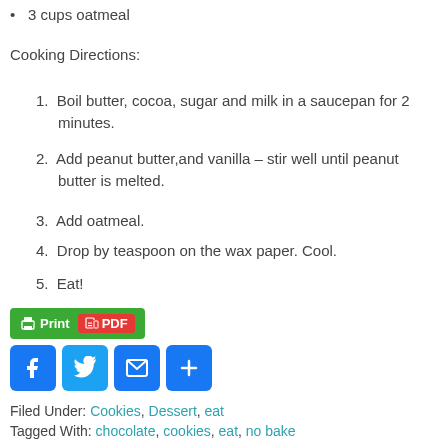3 cups oatmeal
Cooking Directions:
1. Boil butter, cocoa, sugar and milk in a saucepan for 2 minutes.
2. Add peanut butter,and vanilla – stir well until peanut butter is melted.
3. Add oatmeal.
4. Drop by teaspoon on the wax paper. Cool.
5. Eat!
[Figure (infographic): Print and PDF buttons followed by social share icons for Facebook, Twitter, Email, and a plus/more button]
Filed Under: Cookies, Dessert, eat
Tagged With: chocolate, cookies, eat, no bake